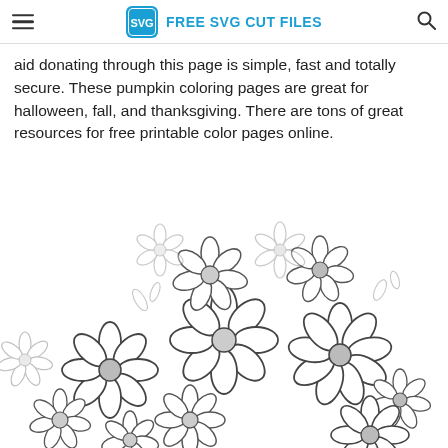FREE SVG CUT FILES
aid donating through this page is simple, fast and totally secure. These pumpkin coloring pages are great for halloween, fall, and thanksgiving. There are tons of great resources for free printable color pages online.
[Figure (illustration): A coloring page illustration showing a cluster of daisy-like flowers with detailed petals and circular centers, rendered in black outlines on white background.]